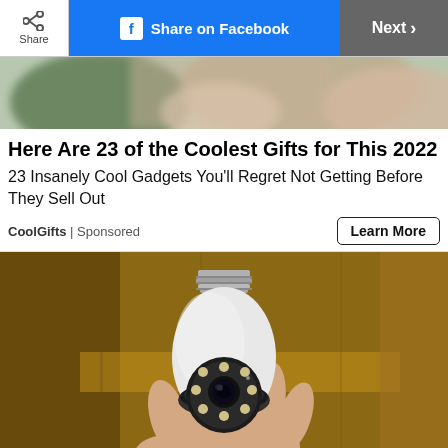[Figure (screenshot): Top toolbar with Share button, Share on Facebook button (blue), and Next > button (gray)]
[Figure (photo): Partial top image showing a blurred hand and green/brown background]
Here Are 23 of the Coolest Gifts for This 2022
23 Insanely Cool Gadgets You'll Regret Not Getting Before They Sell Out
CoolGifts | Sponsored
Learn More
[Figure (photo): A hand holding a security camera disguised as a light bulb with an Edison screw base, white housing, and circular LED ring around the camera lens. Wooden shelf background.]